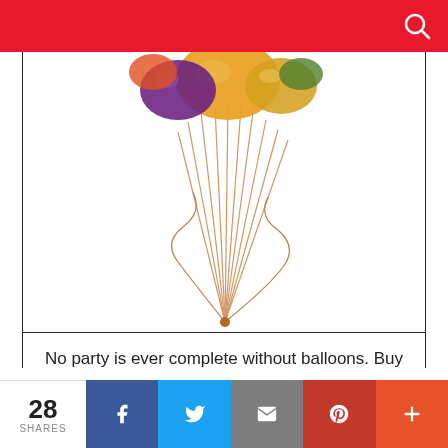[Figure (illustration): Bunch of balloons with streamers/ribbons, partially cropped, on a white background]
No party is ever complete without balloons. Buy some Harry Potter balloons.
BUY HERE
Yard Banner
This website uses cookies to improve your experience. We'll assume you're ok with this, but you can opt-out if you wish.
28 SHARES